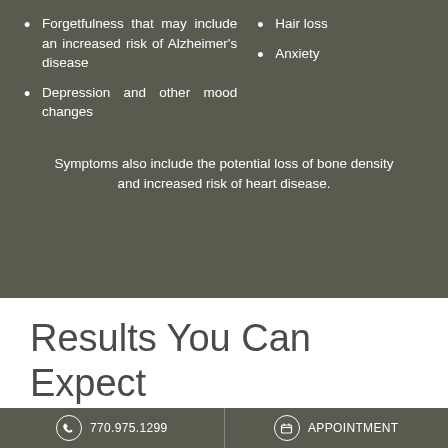Forgetfulness that may include an increased risk of Alzheimer's disease
Hair loss
Depression and other mood changes
Anxiety
Symptoms also include the potential loss of bone density and increased risk of heart disease.
Results You Can Expect from Hormone Therapy
770.975.1299   APPOINTMENT